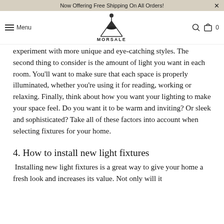Now Offering Free Shipping On All Orders! ×
[Figure (logo): Morsale logo with pendant light icon above triangle shape and brand name MORSALE below]
experiment with more unique and eye-catching styles. The second thing to consider is the amount of light you want in each room. You'll want to make sure that each space is properly illuminated, whether you're using it for reading, working or relaxing. Finally, think about how you want your lighting to make your space feel. Do you want it to be warm and inviting? Or sleek and sophisticated? Take all of these factors into account when selecting fixtures for your home.
4. How to install new light fixtures
Installing new light fixtures is a great way to give your home a fresh look and increases its value. Not only will it